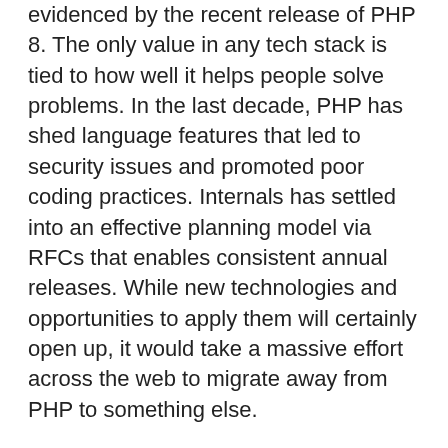evidenced by the recent release of PHP 8. The only value in any tech stack is tied to how well it helps people solve problems. In the last decade, PHP has shed language features that led to security issues and promoted poor coding practices. Internals has settled into an effective planning model via RFCs that enables consistent annual releases. While new technologies and opportunities to apply them will certainly open up, it would take a massive effort across the web to migrate away from PHP to something else.
Let's start in PHP 8 Distilled by Matthew Turland. He writes about new language features you can use, deprecations and removed extensions to watch out for, and tools to streamline upgrading your application code to it. Vinícius Campitelli returns with Applying Best Coding Practices to PHP, Part Two to look at how you can use practical rules along with the SOLID principles discussed last month. In Power Up with Git, Andrew Woods explains how you can...